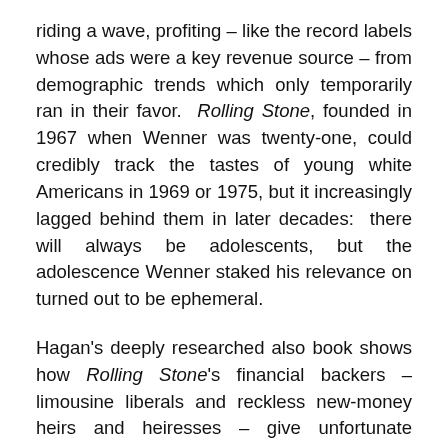riding a wave, profiting – like the record labels whose ads were a key revenue source – from demographic trends which only temporarily ran in their favor. Rolling Stone, founded in 1967 when Wenner was twenty-one, could credibly track the tastes of young white Americans in 1969 or 1975, but it increasingly lagged behind them in later decades: there will always be adolescents, but the adolescence Wenner staked his relevance on turned out to be ephemeral.
Hagan's deeply researched also book shows how Rolling Stone's financial backers – limousine liberals and reckless new-money heirs and heiresses – give unfortunate credence to right-wing conspiracy theories about a biased media pushing sex, drugs, rock 'n' roll and rebellion on the malleable masses. Such influence as Wenner's rivalled that of no other publishing giant. Indeed, for both the